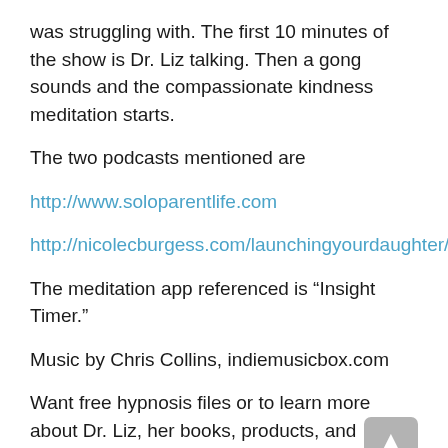was struggling with. The first 10 minutes of the show is Dr. Liz talking. Then a gong sounds and the compassionate kindness meditation starts.
The two podcasts mentioned are
http://www.soloparentlife.com
http://nicolecburgess.com/launchingyourdaughter/
The meditation app referenced is “Insight Timer.”
Music by Chris Collins, indiemusicbox.com
Want free hypnosis files or to learn more about Dr. Liz, her books, products, and services? Head over to www.drlizhypnosis.com to get in on all the great resources. If you liked this episode, do Dr. Liz a favor and rate, review,